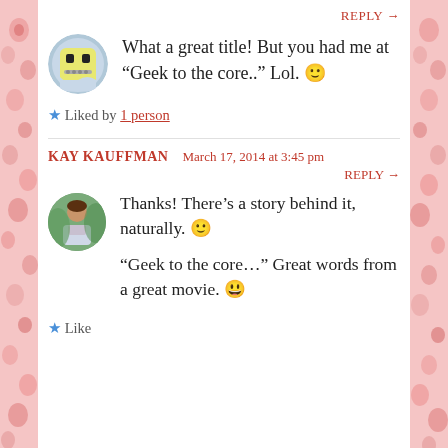REPLY →
What a great title! But you had me at “Geek to the core..” Lol. 🙂
★ Liked by 1 person
KAY KAUFFMAN   March 17, 2014 at 3:45 pm
REPLY →
Thanks! There’s a story behind it, naturally. 🙂

“Geek to the core…” Great words from a great movie. 😀
★ Like